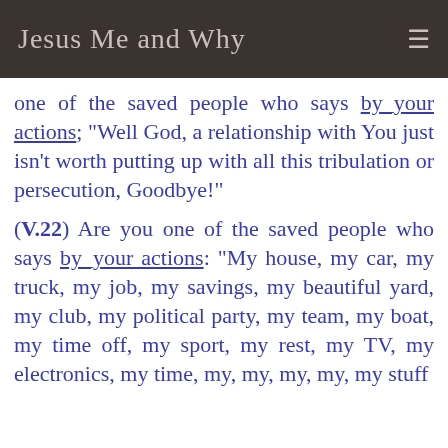Jesus Me and Why
one of the saved people who says by_your actions; "Well God, a relationship with You just isn't worth putting up with all this tribulation or persecution, Goodbye!"
(V.22) Are you one of the saved people who says by_your actions: "My house, my car, my truck, my job, my savings, my beautiful yard, my club, my political party, my team, my boat, my time off, my sport, my rest, my TV, my electronics, my time, my, my, my, my, my stuff